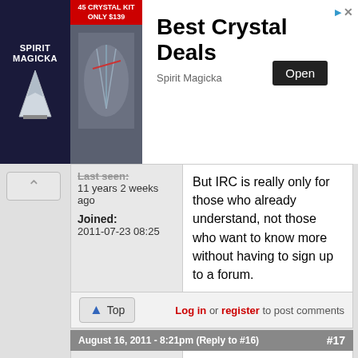[Figure (screenshot): Advertisement banner for 'Best Crystal Deals' by Spirit Magicka with open button]
Last seen:
11 years 2 weeks ago
Joined:
2011-07-23 08:25
But IRC is really only for those who already understand, not those who want to know more without having to sign up to a forum.
Top  Log in or register to post comments
August 16, 2011 - 8:21pm  (Reply to #16)  #17
Mir
Offline
Last seen:
and you think a AIM like chat will be better?
Sorry but IRC works just fine and